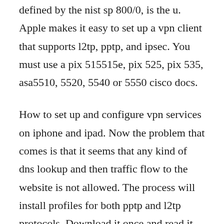defined by the nist sp 800/0, is the u. Apple makes it easy to set up a vpn client that supports l2tp, pptp, and ipsec. You must use a pix 515515e, pix 525, pix 535, asa5510, 5520, 5540 or 5550 cisco docs.
How to set up and configure vpn services on iphone and ipad. Now the problem that comes is that it seems that any kind of dns lookup and then traffic flow to the website is not allowed. The process will install profiles for both pptp and l2tp protocols. Download it once and read it on your kindle device, pc, phones or tablets. If you are a product developer,